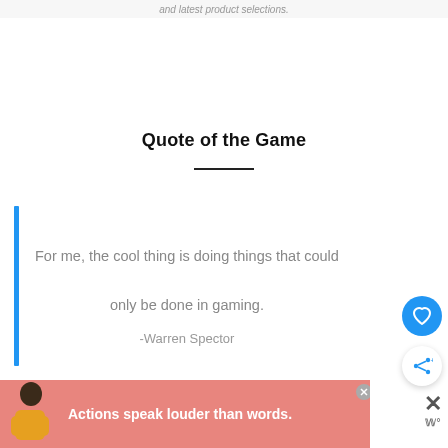and latest product selections.
Quote of the Game
For me, the cool thing is doing things that could only be done in gaming.
-Warren Spector
[Figure (illustration): Blue vertical bar used as blockquote indicator on the left side of the quote text]
[Figure (illustration): Blue circular FAB button with a heart icon]
[Figure (illustration): White circular FAB button with a share icon]
[Figure (illustration): Advertisement banner: pink/salmon background with a person illustration and text 'Actions speak louder than words.' with close buttons]